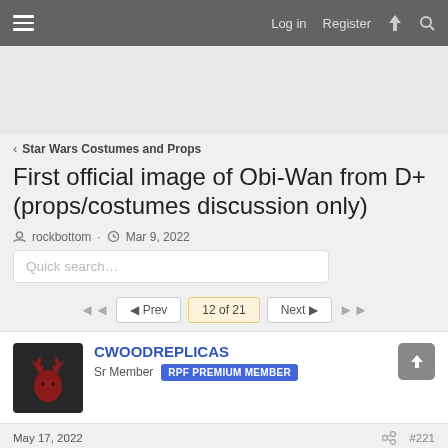Log in  Register
First official image of Obi-Wan from D+ (props/costumes discussion only)
rockbottom · Mar 9, 2022
Quick search…
◄◄  ◄ Prev  12 of 21  Next ►  ►►
CWOODREPLICAS
Sr Member  RPF PREMIUM MEMBER
May 17, 2022  #221